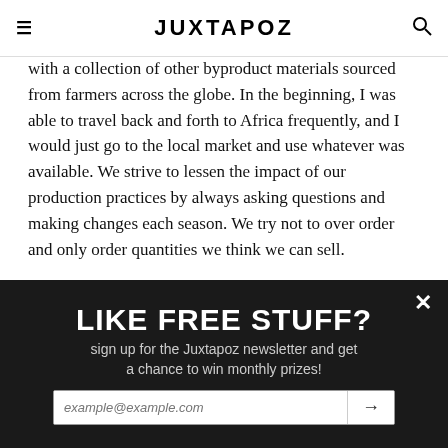JUXTAPOZ
with a collection of other byproduct materials sourced from farmers across the globe. In the beginning, I was able to travel back and forth to Africa frequently, and I would just go to the local market and use whatever was available. We strive to lessen the impact of our production practices by always asking questions and making changes each season. We try not to over order and only order quantities we think we can sell.
Somehow, I think your appreciation of process might guide your desire to open brick and mortar stores. Is this still your intention, and why do you think it's important? A store space is inspiring to me because it can act as a living, breathing brand experience. We have one store in Brooklyn right now which is as manic as my mind. It's really
[Figure (infographic): Black banner overlay reading LIKE FREE STUFF? with subtitle 'sign up for the Juxtapoz newsletter and get a chance to win monthly prizes!' and an email input field with arrow button. An X close button is in the top right.]